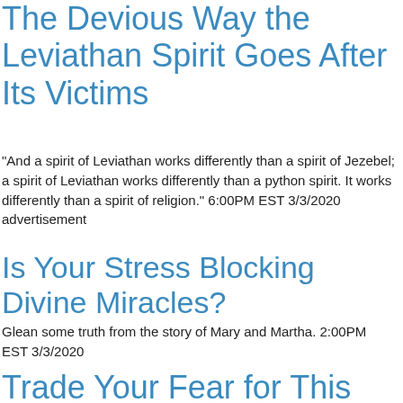The Devious Way the Leviathan Spirit Goes After Its Victims
"And a spirit of Leviathan works differently than a spirit of Jezebel; a spirit of Leviathan works differently than a python spirit. It works differently than a spirit of religion." 6:00PM EST 3/3/2020 advertisement
Is Your Stress Blocking Divine Miracles?
Glean some truth from the story of Mary and Martha. 2:00PM EST 3/3/2020
Trade Your Fear for This